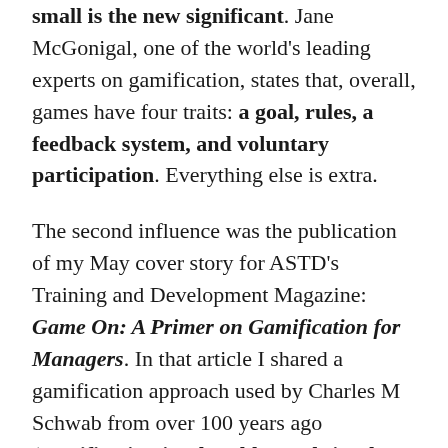small is the new significant. Jane McGonigal, one of the world's leading experts on gamification, states that, overall, games have four traits: a goal, rules, a feedback system, and voluntary participation. Everything else is extra.
The second influence was the publication of my May cover story for ASTD's Training and Development Magazine: Game On: A Primer on Gamification for Managers. In that article I shared a gamification approach used by Charles M Schwab from over 100 years ago (gamification is a lot older and simpler than many people think!)